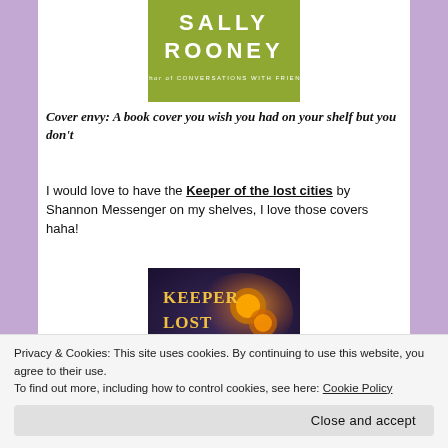[Figure (illustration): Book cover for a Sally Rooney novel with olive/yellow-green background and white bold text reading SALLY ROONEY, with subtitle 'Author of CONVERSATIONS WITH FRIENDS']
Cover envy: A book cover you wish you had on your shelf but you don't
I would love to have the Keeper of the lost cities by Shannon Messenger on my shelves, I love those covers haha!
[Figure (illustration): Book cover for Keeper of Lost Cities showing golden text 'KEEPER LOST CITIES' on a dark fantasy background with glowing objects]
Privacy & Cookies: This site uses cookies. By continuing to use this website, you agree to their use. To find out more, including how to control cookies, see here: Cookie Policy
Close and accept